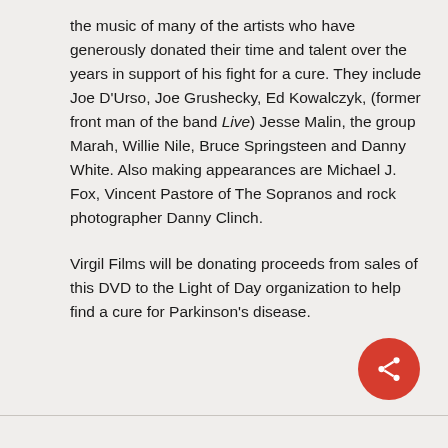the music of many of the artists who have generously donated their time and talent over the years in support of his fight for a cure. They include Joe D'Urso, Joe Grushecky, Ed Kowalczyk, (former front man of the band Live) Jesse Malin, the group Marah, Willie Nile, Bruce Springsteen and Danny White. Also making appearances are Michael J. Fox, Vincent Pastore of The Sopranos and rock photographer Danny Clinch.
Virgil Films will be donating proceeds from sales of this DVD to the Light of Day organization to help find a cure for Parkinson's disease.